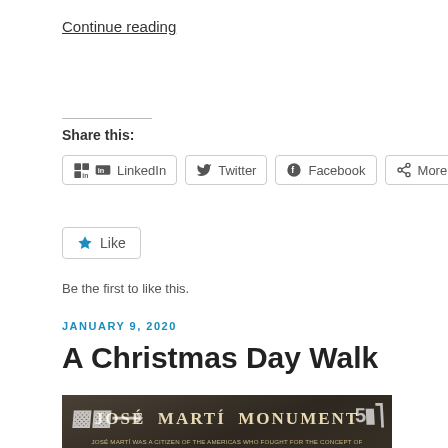Continue reading
Share this:
LinkedIn  Twitter  Facebook  More
Like
Be the first to like this.
JANUARY 9, 2020
A Christmas Day Walk
[Figure (photo): Photo of a plaque for the José Martí Monument with graffiti on it. Text on the plaque reads: JOSÉ MARTÍ WAS A CITIZEN OF THE AMERICAS WHO FOUGHT FOR THE CONCEPT OF LIBERTY AND BROTHERHOOD FOR ALL MEN, WITHOUT DISTINCTION OF RACE, SOCIAL STATUS OR RELIGION. HE WAS A POET, WRITER, TEACHER, POLITICAL REVOLUTIONARY AND GREAT PATRIOT. HIS LITERARY AND PHILOSOPHICAL WORK TRANSFORMED HIM INTO ONE OF THE BEST WRITERS AMONGST LATIN AMERICAN AND SPANISH AUTHORS. BORN IN HAVANA, CUBA, IN 1853, HE DIED IN BATTLE IN DOS RIOS, CUBA, MAY 19TH 1895, FIGHTING FOR THE INDEPENDENCE OF CUBA FROM SPAIN. THE SCULPTOR OF THIS MONUMENT, SERGIO LÓPEZ MESA, WAS BORN IN HAVANA, CUBA AND...]